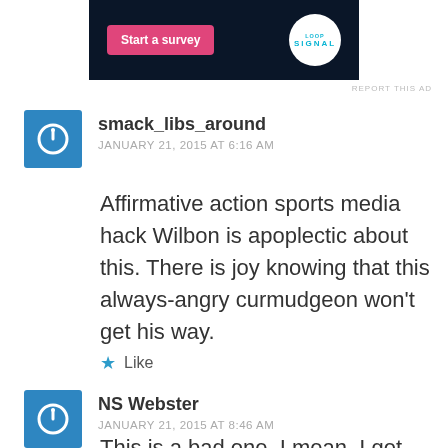[Figure (screenshot): Advertisement banner with pink 'Start a survey' button and a white circular logo with teal text 'LOOP SIGNAL' on dark navy background]
REPORT THIS AD
smack_libs_around
JANUARY 21, 2015 AT 6:16 AM
Affirmative action sports media hack Wilbon is apoplectic about this. There is joy knowing that this always-angry curmudgeon won't get his way.
Like
NS Webster
JANUARY 21, 2015 AT 8:46 AM
This is a bad one. I mean, I get that